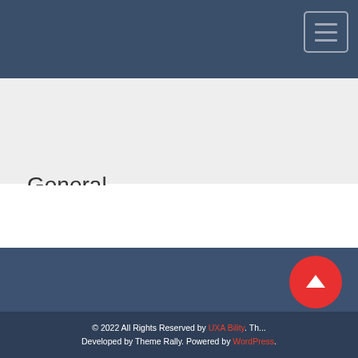General
© 2022 All Rights Reserved by UXA Bility. The... Developed by Theme Rally. Powered by WordPress.